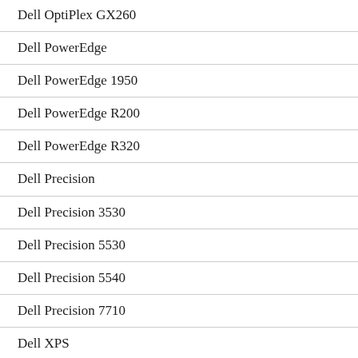Dell OptiPlex GX260
Dell PowerEdge
Dell PowerEdge 1950
Dell PowerEdge R200
Dell PowerEdge R320
Dell Precision
Dell Precision 3530
Dell Precision 5530
Dell Precision 5540
Dell Precision 7710
Dell XPS